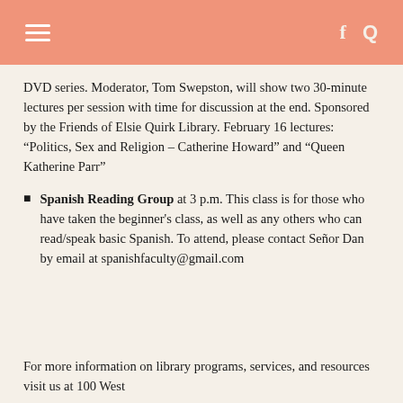DVD series. Moderator, Tom Swepston, will show two 30-minute lectures per session with time for discussion at the end. Sponsored by the Friends of Elsie Quirk Library. February 16 lectures: “Politics, Sex and Religion – Catherine Howard” and “Queen Katherine Parr”
Spanish Reading Group at 3 p.m. This class is for those who have taken the beginner's class, as well as any others who can read/speak basic Spanish. To attend, please contact Señor Dan by email at spanishfaculty@gmail.com
For more information on library programs, services, and resources visit us at 100 West